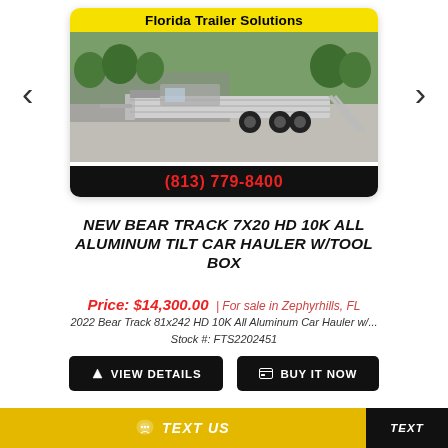[Figure (photo): Florida Trailer Solutions dealership photo showing a silver aluminum tilt car hauler trailer in a parking lot, with yellow top banner reading 'Florida Trailer Solutions' and black bottom banner showing phone number '(813) 779-8400']
NEW BEAR TRACK 7X20 HD 10K ALL ALUMINUM TILT CAR HAULER W/TOOL BOX
Price: $14,300.00 | For sale in Zephyrhills, FL
2022 Bear Track 81x242 HD 10K All Aluminum Car Hauler w/...
Stock #: FTS2202451
VIEW DETAILS
BUY IT NOW
TEXT US
TEXT